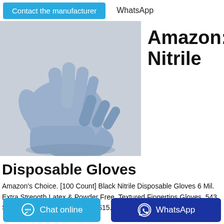Contact the manufacturer   WhatsApp
[Figure (photo): Two blue/lavender nitrile disposable gloves displayed on a light grey background, one showing the palm and the other the back of the hand.]
Amazon:
Nitrile
Disposable Gloves
Amazon's Choice. [100 Count] Black Nitrile Disposable Gloves 6 Mil. Extra Strength Latex & Powder Free, Textured Fingertips Gloves. 543. Save 6%. $1499 ($0.15/Count)$15.99. Lowest price in 30 days. FREE
Chat online
WhatsApp